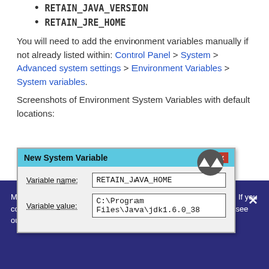RETAIN_JAVA_VERSION
RETAIN_JRE_HOME
You will need to add the environment variables manually if not already listed within: Control Panel > System > Advanced system settings > Environment Variables > System variables.
Screenshots of Environment System Variables with default locations:
[Figure (screenshot): Screenshot of Windows 'New System Variable' dialog showing Variable name: RETAIN_JAVA_HOME and Variable value: C:\Program Files\Java\jdk1.6.0_38]
Micro Focus uses cookies to give you the best online experience. If you continue to use this site, you agree to the use of cookies. Please see our cookie policy for details.